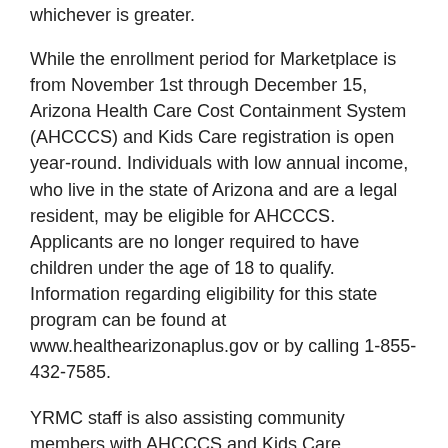whichever is greater.
While the enrollment period for Marketplace is from November 1st through December 15, Arizona Health Care Cost Containment System (AHCCCS) and Kids Care registration is open year-round. Individuals with low annual income, who live in the state of Arizona and are a legal resident, may be eligible for AHCCCS. Applicants are no longer required to have children under the age of 18 to qualify. Information regarding eligibility for this state program can be found at www.healthearizonaplus.gov or by calling 1-855-432-7585.
YRMC staff is also assisting community members with AHCCCS and Kids Care enrollment during the current extended service hours. In order to enroll, people will need their date of birth, Social Security number, proof of income and proof of residency.